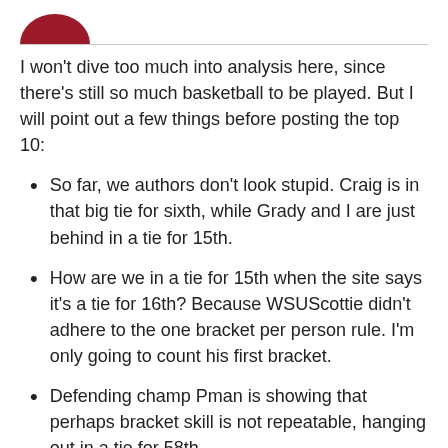[Figure (logo): Partial red circular logo visible at top left]
I won't dive too much into analysis here, since there's still so much basketball to be played. But I will point out a few things before posting the top 10:
So far, we authors don't look stupid. Craig is in that big tie for sixth, while Grady and I are just behind in a tie for 15th.
How are we in a tie for 15th when the site says it's a tie for 16th? Because WSUScottie didn't adhere to the one bracket per person rule. I'm only going to count his first bracket.
Defending champ Pman is showing that perhaps bracket skill is not repeatable, hanging out in a tie for 58th.